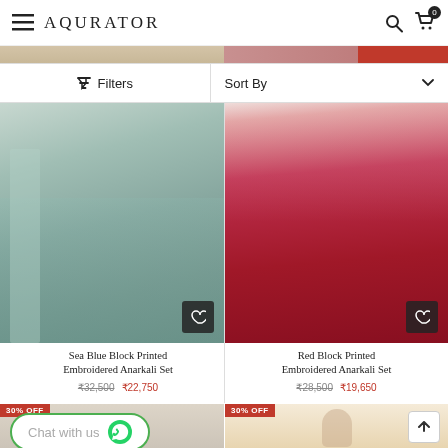AQURATOR
Filters | Sort By
[Figure (photo): Sea Blue Block Printed Embroidered Anarkali Set - product photo showing teal/blue anarkali dress]
[Figure (photo): Red Block Printed Embroidered Anarkali Set - product photo showing red anarkali dress]
Sea Blue Block Printed Embroidered Anarkali Set
₹32,500  ₹22,750
Red Block Printed Embroidered Anarkali Set
₹28,500  ₹19,650
[Figure (photo): Bottom product row partially visible with 30% OFF badge - left item]
[Figure (photo): Bottom product row partially visible with 30% OFF badge - right item]
Chat with us